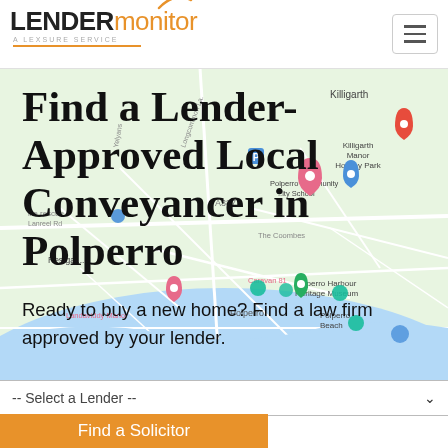[Figure (logo): LENDERmonitor logo with orange arc above 'monitor', tagline 'A LEXSURE SERVICE', orange underline]
[Figure (map): Google Maps view centered on Polperro, Cornwall UK showing coastal village and surroundings including Killigarth, Polperro Harbour Heritage Museum, Polperro Beach, Landaviddy Manor, Caravan 81]
Find a Lender-Approved Local Conveyancer in Polperro
Ready to buy a new home? Find a law firm approved by your lender.
-- Select a Lender --
Find a Solicitor